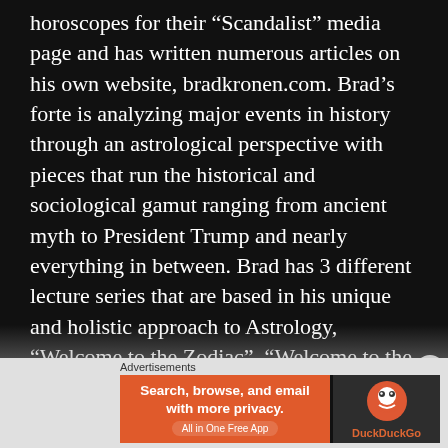horoscopes for their “Scandalist” media page and has written numerous articles on his own website, bradkronen.com. Brad’s forte is analyzing major events in history through an astrological perspective with pieces that run the historical and sociological gamut ranging from ancient myth to President Trump and nearly everything in between. Brad has 3 different lecture series that are based in his unique and holistic approach to Astrology, “Welcome to the Zodiac”, “Welcome to the Astrological Solar System”, and “The 12 Houses” which he has presented before audiences both in person and on line, the archives of which can
Advertisements
[Figure (other): DuckDuckGo advertisement banner: orange section with text 'Search, browse, and email with more privacy. All in One Free App' and dark section with DuckDuckGo logo and brand name.]